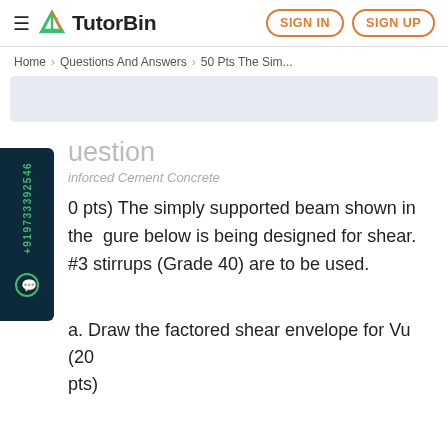TutorBin — SIGN IN | SIGN UP
Home > Questions And Answers > 50 Pts The Sim...
Question
Reinforced Cement Concrete
(50 pts) The simply supported beam shown in the figure below is being designed for shear. #3 stirrups (Grade 40) are to be used.
a. Draw the factored shear envelope for Vu (20 pts)